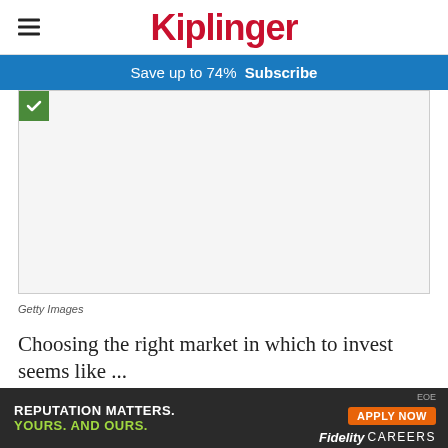Kiplinger
Save up to 74%  Subscribe
[Figure (photo): Advertisement image placeholder with small green checkmark icon in top-left corner]
Getty Images
Choosing the right market in which to invest seems like ...
[Figure (infographic): Bottom banner advertisement: REPUTATION MATTERS. YOURS. AND OURS. APPLY NOW EOE Fidelity CAREERS]